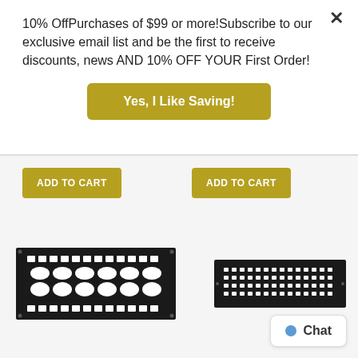10% OffPurchases of $99 or more!Subscribe to our exclusive email list and be the first to receive discounts, news AND 10% OFF YOUR First Order!
Yes, I Like Saving!
ADD TO CART
ADD TO CART
[Figure (photo): Black decorative rectangular floor/wall vent register grille with ornate oval and rectangular openings pattern]
[Figure (photo): Black narrow rectangular vent register grille with small perforated holes pattern]
Chat